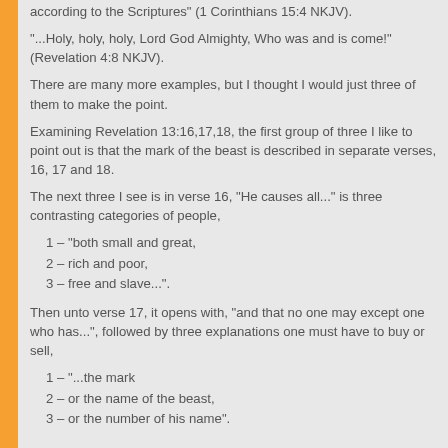according to the Scriptures" (1 Corinthians 15:4 NKJV).
"...Holy, holy, holy, Lord God Almighty, Who was and is come!" (Revelation 4:8 NKJV).
There are many more examples, but I thought I would just three of them to make the point.
Examining Revelation 13:16,17,18, the first group of three I like to point out is that the mark of the beast is described in separate verses, 16, 17 and 18.
The next three I see is in verse 16, “He causes all...” is three contrasting categories of people,
1 – “both small and great,
2 – rich and poor,
3 – free and slave...”.
Then unto verse 17, it opens with, “and that no one may except one who has...”, followed by three explanations one must have to buy or sell,
1 – “...the mark
2 – or the name of the beast,
3 – or the number of his name”.